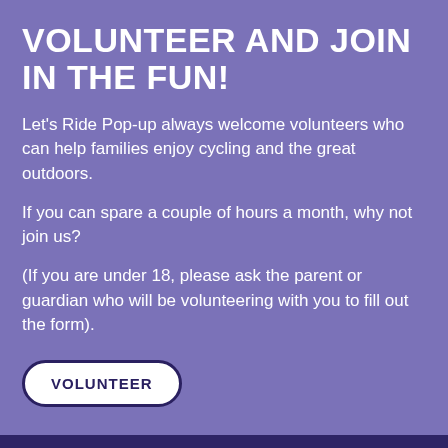VOLUNTEER AND JOIN IN THE FUN!
Let's Ride Pop-up always welcome volunteers who can help families enjoy cycling and the great outdoors.
If you can spare a couple of hours a month, why not join us?
(If you are under 18, please ask the parent or guardian who will be volunteering with you to fill out the form).
VOLUNTEER
Subscribe me to the mailing list for advance info & the best from the blog
my email address
SUBSCRIBE